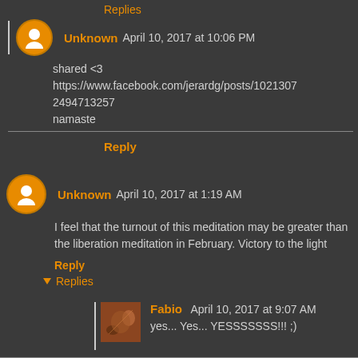Replies
Unknown April 10, 2017 at 10:06 PM
shared <3
https://www.facebook.com/jerardg/posts/10213072494713257
namaste
Reply
Unknown April 10, 2017 at 1:19 AM
I feel that the turnout of this meditation may be greater than the liberation meditation in February. Victory to the light
Reply
Replies
Fabio April 10, 2017 at 9:07 AM
yes... Yes... YESSSSSSS!!! ;)